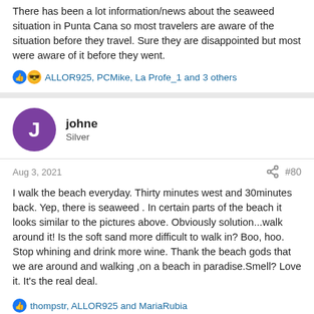There has been a lot information/news about the seaweed situation in Punta Cana so most travelers are aware of the situation before they travel. Sure they are disappointed but most were aware of it before they went.
ALLOR925, PCMike, La Profe_1 and 3 others
johne
Silver
Aug 3, 2021
#80
I walk the beach everyday. Thirty minutes west and 30minutes back. Yep, there is seaweed . In certain parts of the beach it looks similar to the pictures above. Obviously solution...walk around it! Is the soft sand more difficult to walk in? Boo, hoo. Stop whining and drink more wine. Thank the beach gods that we are around and walking ,on a beach in paradise.Smell? Love it. It's the real deal.
thompstr, ALLOR925 and MariaRubia